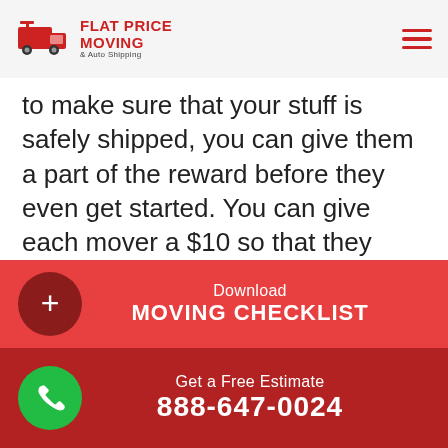Flat Price Moving & Auto Shipping
to make sure that your stuff is safely shipped, you can give them a part of the reward before they even get started. You can give each mover a $10 so that they know that you'll appreciate a reliable service.
The trouble with ‘after the move’ approach, especially in a cross-country relocation, is that
[Figure (infographic): Red download CTA banner with plus button: Download MOVING CHECKLIST]
[Figure (infographic): Dark red phone CTA banner with green phone button: Get a Free Estimate 888-647-0024]